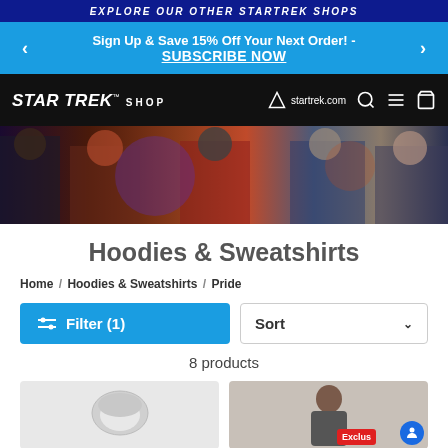EXPLORE OUR OTHER STARTREK SHOPS
Sign Up & Save 15% Off Your Next Order! - SUBSCRIBE NOW
STAR TREK SHOP | startrek.com
[Figure (photo): Star Trek characters promotional hero banner]
Hoodies & Sweatshirts
Home / Hoodies & Sweatshirts / Pride
Filter (1)
Sort
8 products
[Figure (photo): Product thumbnail - hoodie/sweatshirt item]
[Figure (photo): Product thumbnail - person wearing hoodie with Exclusive badge]